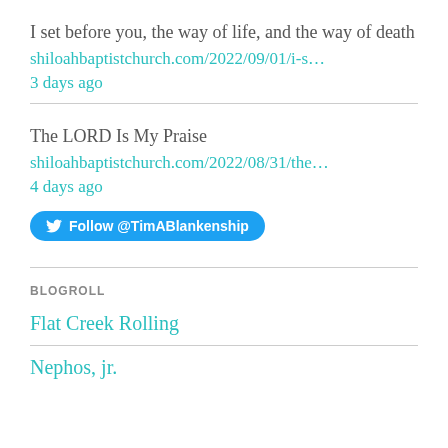I set before you, the way of life, and the way of death
shiloahbaptistchurch.com/2022/09/01/i-s…
3 days ago
The LORD Is My Praise
shiloahbaptistchurch.com/2022/08/31/the…
4 days ago
Follow @TimABlankenship
BLOGROLL
Flat Creek Rolling
Nephos, jr.